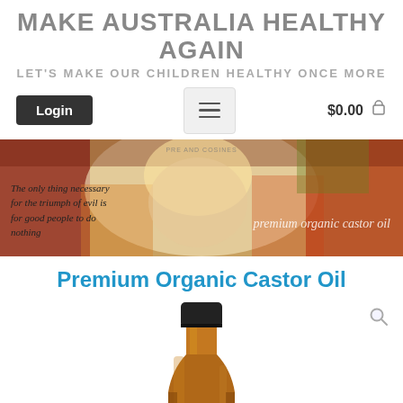MAKE AUSTRALIA HEALTHY AGAIN
LET'S MAKE OUR CHILDREN HEALTHY ONCE MORE
[Figure (screenshot): Navigation bar with Login button, hamburger menu icon, and $0.00 cart icon]
[Figure (photo): Hero banner with colorful background image showing a child and text overlays: 'The only thing necessary for the triumph of evil is for good people to do nothing' on left, 'premium organic castor oil' on right]
Premium Organic Castor Oil
[Figure (photo): Product image showing top/neck of an amber glass bottle of Premium Organic Castor Oil on white background, with a magnify/search icon in top right corner]